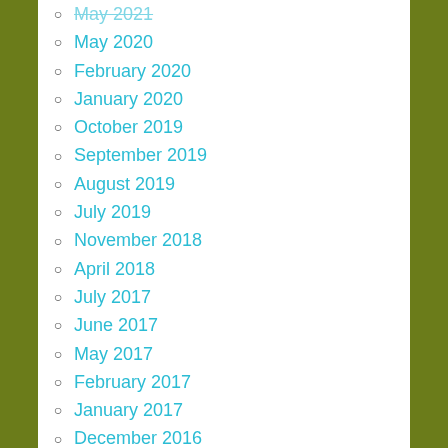May 2021
May 2020
February 2020
January 2020
October 2019
September 2019
August 2019
July 2019
November 2018
April 2018
July 2017
June 2017
May 2017
February 2017
January 2017
December 2016
October 2016
September 2016
August 2016
July 2016